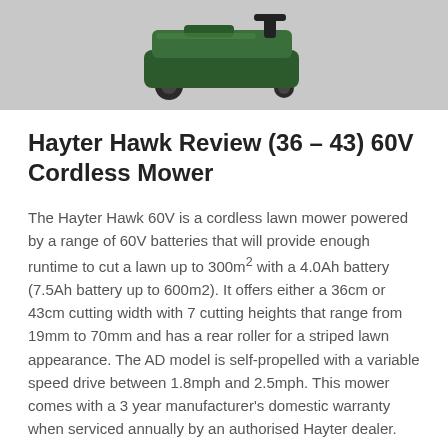[Figure (photo): Hayter Hawk 60V cordless lawn mower photographed from above/side angle on a grey background]
Hayter Hawk Review (36 – 43) 60V Cordless Mower
The Hayter Hawk 60V is a cordless lawn mower powered by a range of 60V batteries that will provide enough runtime to cut a lawn up to 300m² with a 4.0Ah battery (7.5Ah battery up to 600m2). It offers either a 36cm or 43cm cutting width with 7 cutting heights that range from 19mm to 70mm and has a rear roller for a striped lawn appearance. The AD model is self-propelled with a variable speed drive between 1.8mph and 2.5mph. This mower comes with a 3 year manufacturer's domestic warranty when serviced annually by an authorised Hayter dealer.
READ MORE